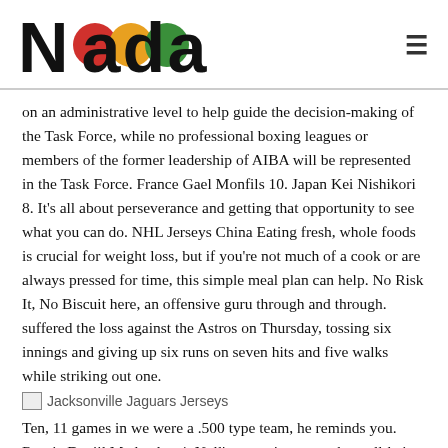Nada (logo with colored circles)
on an administrative level to help guide the decision-making of the Task Force, while no professional boxing leagues or members of the former leadership of AIBA will be represented in the Task Force. France Gael Monfils 10. Japan Kei Nishikori 8. It’s all about perseverance and getting that opportunity to see what you can do. NHL Jerseys China Eating fresh, whole foods is crucial for weight loss, but if you’re not much of a cook or are always pressed for time, this simple meal plan can help. No Risk It, No Biscuit here, an offensive guru through and through. suffered the loss against the Astros on Thursday, tossing six innings and giving up six runs on seven hits and five walks while striking out one.
[Figure (other): Broken image placeholder with alt text: Jacksonville Jaguars Jerseys]
Ten, 11 games in we were a .500 type team, he reminds you. Russia Daniil Medvedev 4. Noll’s commitment to the well-being